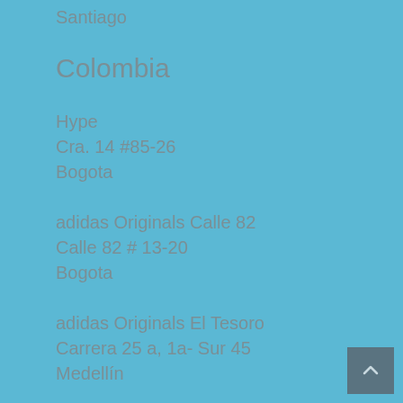Santiago
Colombia
Hype
Cra. 14 #85-26
Bogota
adidas Originals Calle 82
Calle 82 # 13-20
Bogota
adidas Originals El Tesoro
Carrera 25 a, 1a- Sur 45
Medellín
Cyprus